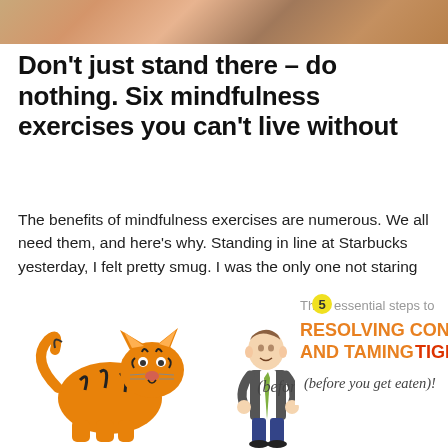[Figure (photo): Top banner image showing partial view of people, warm tones]
Don't just stand there – do nothing. Six mindfulness exercises you can't live without
The benefits of mindfulness exercises are numerous. We all need them, and here's why. Standing in line at Starbucks yesterday, I felt pretty smug. I was the only one not staring into a phone. I only noticed because I was... Continue reading
[Figure (illustration): Book cover illustration: The 5 essential steps to RESOLVING CONFLICT AND TAMING TIGERS (before you get eaten)! Shows a cartoon tiger and a man in a suit.]